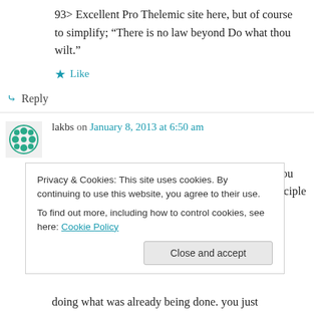93> Excellent Pro Thelemic site here, but of course to simplify; “There is no law beyond Do what thou wilt.”
★ Like
↳ Reply
lakbs on January 8, 2013 at 6:50 am
if the main idea of this idea is do what you will, you already botched something pretty beautiful in principle by giving it a name, now people will
Privacy & Cookies: This site uses cookies. By continuing to use this website, you agree to their use.
To find out more, including how to control cookies, see here: Cookie Policy
Close and accept
doing what was already being done. you just